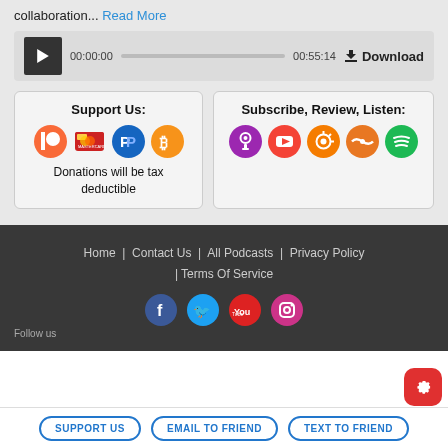collaboration... Read More
[Figure (screenshot): Audio player bar showing 00:00:00 start time, progress bar, 00:55:14 end time, and Download button]
Support Us:
[Figure (infographic): Support icons: Patreon (orange), credit card, PayPal (blue), Bitcoin (orange)]
Donations will be tax deductible
Subscribe, Review, Listen:
[Figure (infographic): Subscribe icons: Apple Podcasts (purple), YouTube (red), Overcast (orange), Stitcher (orange), Spotify (green)]
Home | Contact Us | All Podcasts | Privacy Policy | Terms Of Service
SUPPORT US  EMAIL TO FRIEND  TEXT TO FRIEND